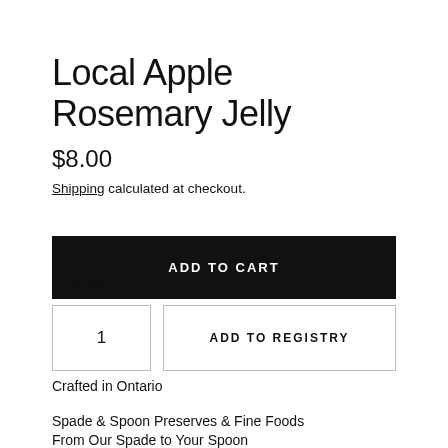Local Apple Rosemary Jelly
$8.00
Shipping calculated at checkout.
Quantity
ADD TO CART
1
ADD TO REGISTRY
Crafted in Ontario
Spade & Spoon Preserves & Fine Foods
From Our Spade to Your Spoon